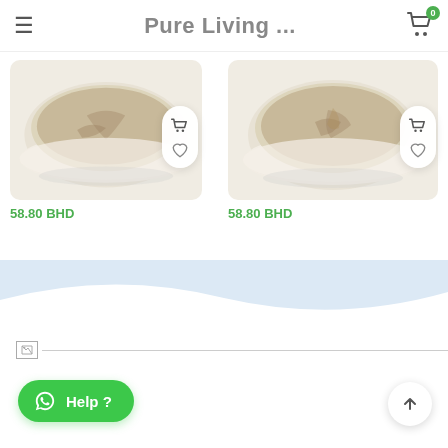Pure Living ...
[Figure (photo): Product image: decorative bowl with carved design, price 58.80 BHD, with cart and wishlist buttons]
[Figure (photo): Product image: decorative bowl with carved design, price 58.80 BHD, with cart and wishlist buttons]
[Figure (illustration): Wave divider section with light blue background]
[Figure (photo): Broken/loading image placeholder spanning full width]
Help?
^